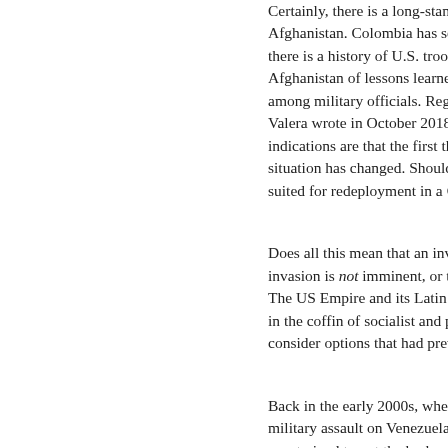Certainly, there is a long-standi... Afghanistan. Colombia has sen... there is a history of U.S. troop t... Afghanistan of lessons learned... among military officials. Regard... Valera wrote in October 2018 th... indications are that the first thin... situation has changed. Should t... suited for redeployment in a Co...
Does all this mean that an invas... invasion is not imminent, or tha... The US Empire and its Latin An... in the coffin of socialist and pop... consider options that had previo...
Back in the early 2000s, when t... military assault on Venezuela, e... constrained to put the brakes o... still confident they could put tog... cannot be surprised if some of t...
Until recently, talk about military... Wall Street nor the traditional ri... was then, and this is now. Bess...